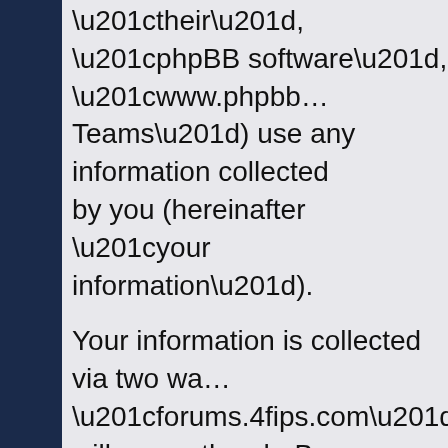“their”, “phpBB software”, “www.phpbb… Teams”) use any information collected by you (hereinafter “your information”).
Your information is collected via two wa… “forums.4fips.com” will cause the phpB… of cookies, which are small text files th… computer’s web browser temporary file… contain a user identifier (hereinafter “us… session identifier (hereinafter “session-… you by the phpBB software. A third coo… have browsed topics within “forums.4fi… which topics have been read, thereby i… experience.